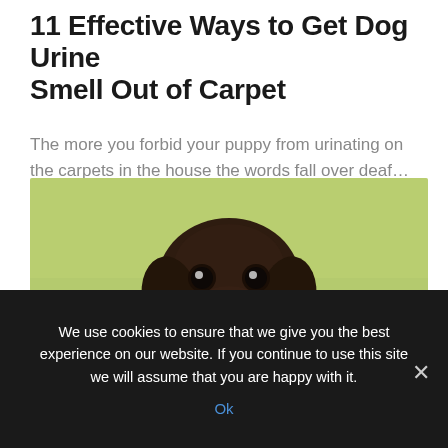11 Effective Ways to Get Dog Urine Smell Out of Carpet
The more you forbid your puppy from urinating on the carpets in the house the words fall over deaf…
[Figure (photo): A dark brown chocolate Labrador puppy sitting on green grass, mouth open and smiling, looking upward]
We use cookies to ensure that we give you the best experience on our website. If you continue to use this site we will assume that you are happy with it.
Ok